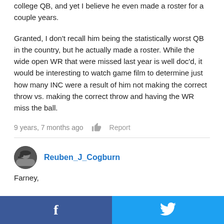college QB, and yet I believe he even made a roster for a couple years.
Granted, I don't recall him being the statistically worst QB in the country, but he actually made a roster. While the wide open WR that were missed last year is well doc'd, it would be interesting to watch game film to determine just how many INC were a result of him not making the correct throw vs. making the correct throw and having the WR miss the ball.
9 years, 7 months ago  [thumbs up]  Report
Reuben_J_Cogburn
Farney,

The NFL does not recruit based on character. Yes, we know he's a good guy and a hard worker, and we wish him nothing but success in life.
f  [Twitter bird]